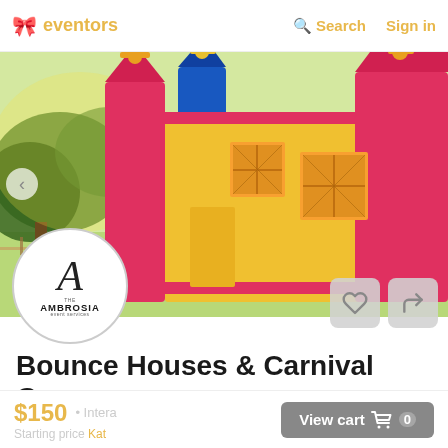eventors  Search  Sign in
[Figure (photo): Colorful inflatable bounce house castle with red, blue, and yellow sections, outdoors with trees in background]
[Figure (logo): Ambrosia Event Services circular logo with stylized letter A]
Bounce Houses & Carnival Games
5 ★  1 Review
$150  Intera  Starting price  Kat  View cart  0